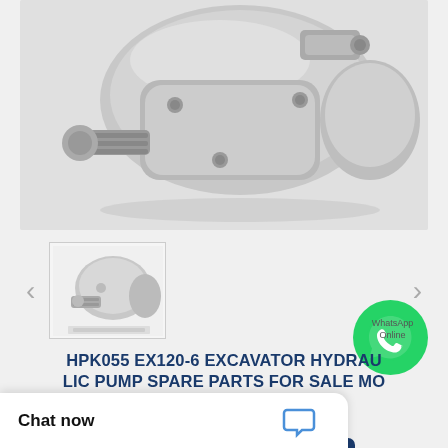[Figure (photo): Hydraulic pump (HPK055 EX120-6) spare part, metallic silver/grey color, showing spline shaft and body, photographed on white background]
[Figure (photo): Thumbnail of the same hydraulic pump product image]
[Figure (illustration): WhatsApp icon circle (green with white phone symbol) with label 'WhatsApp Online']
HPK055 EX120-6 EXCAVATOR HYDRAULIC PUMP SPARE PARTS FOR SALE MODELS
Need a CAD or 3D Model?
Contact Now
Chat now